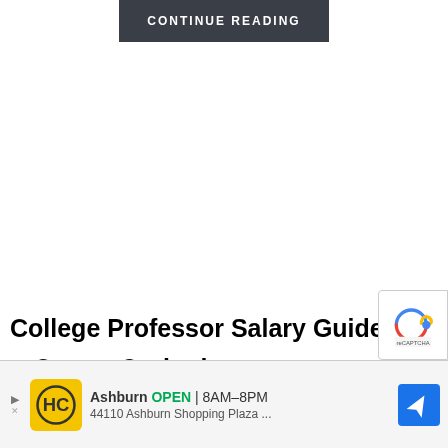[Figure (other): Dark gray button with white uppercase text reading CONTINUE READING]
College Professor Salary Guide and
Career Outlook
[Figure (other): Advertisement overlay: HC logo on yellow background, Ashburn OPEN 8AM-8PM, 44110 Ashburn Shopping Plaza, navigation arrow icon in blue]
[Figure (other): reCAPTCHA logo overlay in bottom right corner]